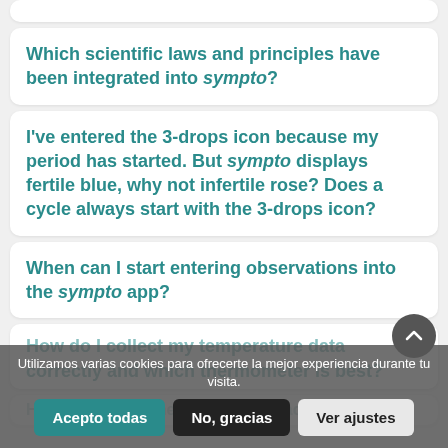Which scientific laws and principles have been integrated into sympto?
I've entered the 3-drops icon because my period has started. But sympto displays fertile blue, why not infertile rose? Does a cycle always start with the 3-drops icon?
When can I start entering observations into the sympto app?
How do I collect my temperature data correctly and which thermometer is best?
How effective is the STM for contraception? W... 'd...?
Utilizamos varias cookies para ofrecerte la mejor experiencia durante tu visita.
Acepto todas  No, gracias  Ver ajustes